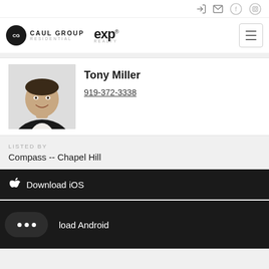Caul Group Residential / eXp Realty — navigation header with social icons
[Figure (logo): Caul Group Residential and eXp Realty logos side by side]
[Figure (photo): Headshot of Tony Miller, a young man in a dark blazer smiling]
Tony Miller
919-372-3338
LISTED BY
Compass -- Chapel Hill
Download iOS
Download Android